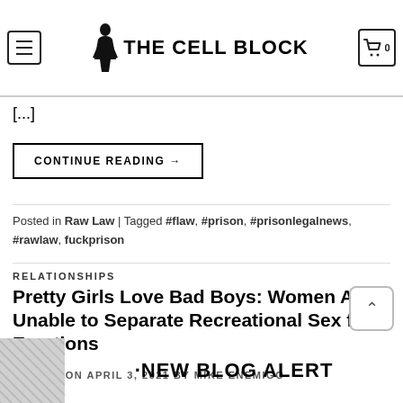THE CELL BLOCK
framework for evaluating claims in ineffective tance of co... an outcome determinative approach. "The benchmark for judging [...]
CONTINUE READING →
Posted in Raw Law  |  Tagged #flaw, #prison, #prisonlegalnews, #rawlaw, fuckprison
RELATIONSHIPS
Pretty Girls Love Bad Boys: Women Are Unable to Separate Recreational Sex from Emotions
POSTED ON APRIL 3, 2021 BY MIKE ENEMIGO
[Figure (other): Thumbnail image and NEW BLOG ALERT banner at bottom of page]